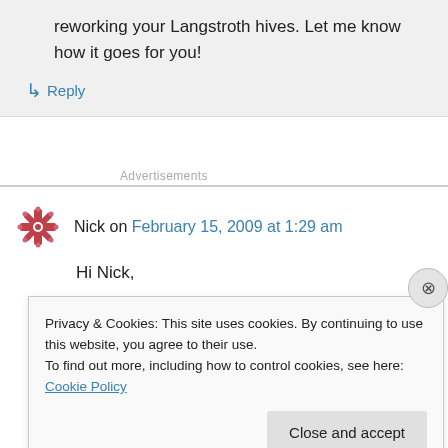reworking your Langstroth hives. Let me know how it goes for you!
↳ Reply
Advertisements
Nick on February 15, 2009 at 1:29 am
Hi Nick,
Privacy & Cookies: This site uses cookies. By continuing to use this website, you agree to their use.
To find out more, including how to control cookies, see here: Cookie Policy
Close and accept